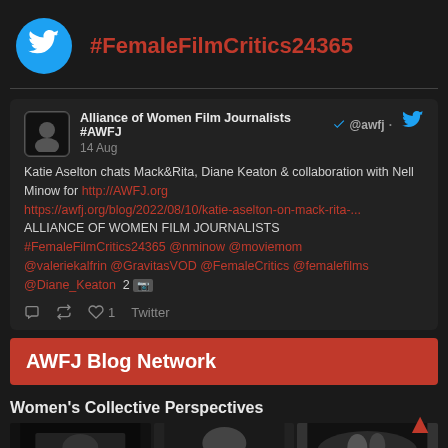#FemaleFilmCritics24365
Alliance of Women Film Journalists #AWFJ @awfj · 14 Aug
Katie Aselton chats Mack&Rita, Diane Keaton & collaboration with Nell Minow for http://AWFJ.org https://awfj.org/blog/2022/08/10/katie-aselton-on-mack-rita-... ALLIANCE OF WOMEN FILM JOURNALISTS #FemaleFilmCritics24365 @nminow @moviemom @valeriekalfrin @GravitasVOD @FemaleCritics @femalefilms @Diane_Keaton 2 [image]
♡ ↩ ♡ 1 Twitter
AWFJ Blog Network
Women's Collective Perspectives